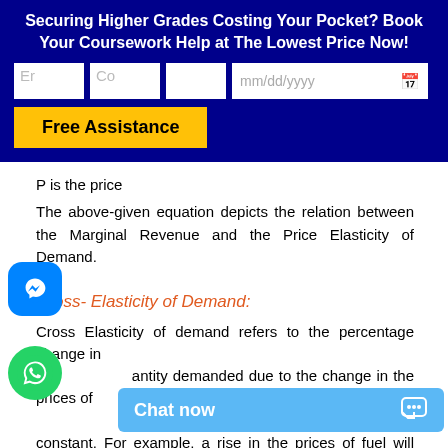Securing Higher Grades Costing Your Pocket? Book Your Coursework Help at The Lowest Price Now!
[Figure (screenshot): Web form with input fields for email, country, blank field, date picker, and a Free Assistance button on dark blue background]
P is the price
The above-given equation depicts the relation between the Marginal Revenue and the Price Elasticity of Demand.
Cross- Elasticity of Demand:
Cross Elasticity of demand refers to the percentage change in quantity demanded due to the change in the prices of good, provided other variables remain constant. For example, a rise in the prices of fuel will result in the demand for fuel driven cars; a rise in the prices of computer hardware will affect the prices of the c...
Thus, the relation between...